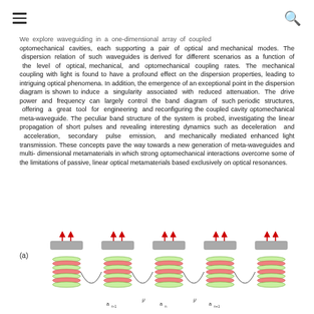≡  🔍
We explore waveguiding in a one-dimensional array of coupled optomechanical cavities, each supporting a pair of optical and mechanical modes. The dispersion relation of such waveguides is derived for different scenarios as a function of the level of optical, mechanical, and optomechanical coupling rates. The mechanical coupling with light is found to have a profound effect on the dispersion properties, leading to intriguing optical phenomena. In addition, the emergence of an exceptional point in the dispersion diagram is shown to induce a singularity associated with reduced attenuation. The drive power and frequency can largely control the band diagram of such periodic structures, offering a great tool for engineering and reconfiguring the coupled cavity optomechanical meta-waveguide. The peculiar band structure of the system is probed, investigating the linear propagation of short pulses and revealing interesting dynamics such as deceleration and acceleration, secondary pulse emission, and mechanically mediated enhanced light transmission. These concepts pave the way towards a new generation of meta-waveguides and multi-dimensional metamaterials in which strong optomechanical interactions overcome some of the limitations of passive, linear optical metamaterials based exclusively on optical resonances.
[Figure (schematic): Panel (a) showing a one-dimensional array of coupled optomechanical cavities. Each cavity consists of a mechanical element (gray block on top) with red arrows indicating drive, and an optical cavity (shown as green/red layered structure below). The cavities are coupled to each other with curved coupling arrows labeled with parameters such as a_{n-1}, μ, a_n, μ, a_{n+1}.]